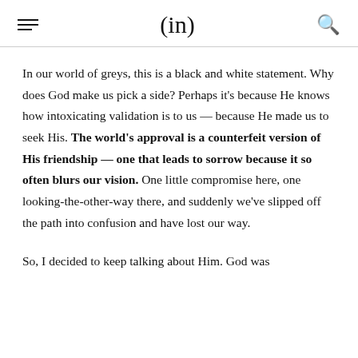(in)
In our world of greys, this is a black and white statement. Why does God make us pick a side? Perhaps it's because He knows how intoxicating validation is to us — because He made us to seek His. The world's approval is a counterfeit version of His friendship — one that leads to sorrow because it so often blurs our vision. One little compromise here, one looking-the-other-way there, and suddenly we've slipped off the path into confusion and have lost our way.
So, I decided to keep talking about Him. God was